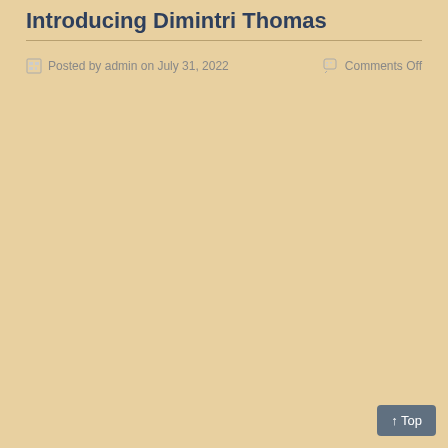Introducing Dimintri Thomas
Posted by admin on July 31, 2022
Comments Off
↑ Top